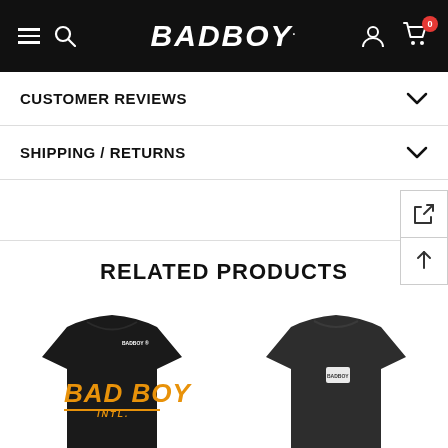BADBOY. (navigation bar with hamburger menu, search, logo, user icon, cart with 0 items)
CUSTOMER REVIEWS
SHIPPING / RETURNS
RELATED PRODUCTS
[Figure (photo): Black Bad Boy Intl. t-shirt with orange BAD BOY logo text on front]
[Figure (photo): Dark grey/black plain t-shirt with small white logo patch on chest]